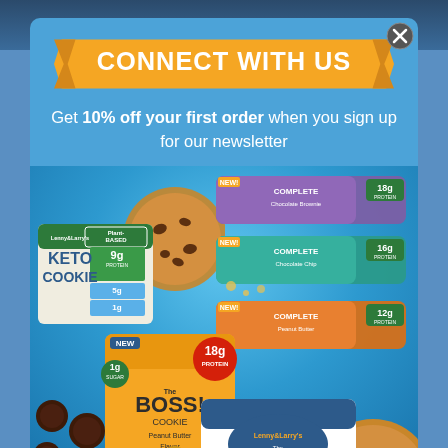CONNECT WITH US
Get 10% off your first order when you sign up for our newsletter
[Figure (photo): Product photo collage showing Lenny & Larry's cookie products: Keto Cookie package with plant-based 9g protein label, The Boss! Cookie package with 18g protein, Protein Cookies package, The Complete Cookie package (chocolate chip flavor), and several Complete Cookie bars in various flavors (purple, teal, orange wrappers). Loose chocolate chip cookies visible alongside the packages on a blue background.]